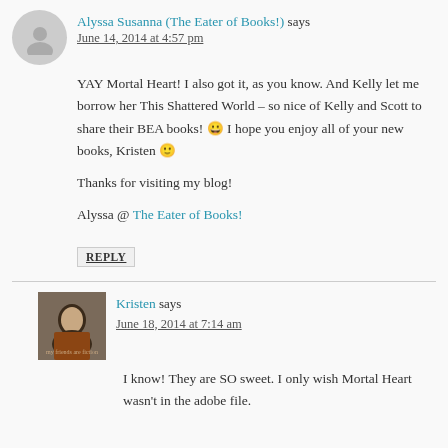Alyssa Susanna (The Eater of Books!) says
June 14, 2014 at 4:57 pm
YAY Mortal Heart! I also got it, as you know. And Kelly let me borrow her This Shattered World – so nice of Kelly and Scott to share their BEA books! 😀 I hope you enjoy all of your new books, Kristen 🙂
Thanks for visiting my blog!
Alyssa @ The Eater of Books!
REPLY
Kristen says
June 18, 2014 at 7:14 am
I know! They are SO sweet. I only wish Mortal Heart wasn't in the adobe file.